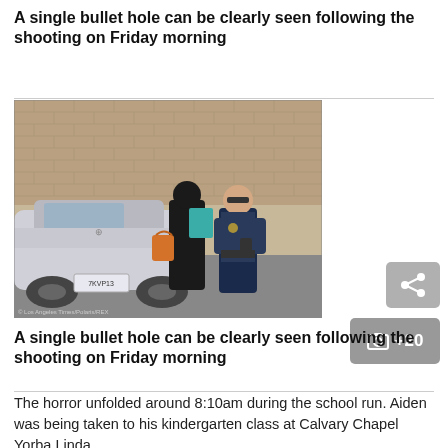A single bullet hole can be clearly seen following the shooting on Friday morning
[Figure (photo): A police officer stands next to a woman dressed in black near a silver Chevrolet car with a brick wall in the background. The woman holds a teal folder and an orange handbag. Photo credited to Los Angeles Times/Polaris.]
A single bullet hole can be clearly seen following the shooting on Friday morning
The horror unfolded around 8:10am during the school run. Aiden was being taken to his kindergarten class at Calvary Chapel Yorba Linda.